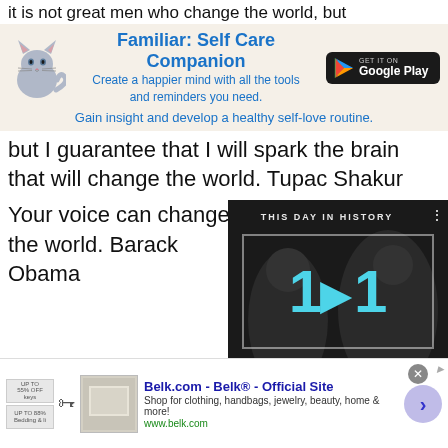it is not great men who change the world, but
[Figure (infographic): App advertisement banner for 'Familiar: Self Care Companion' with cat illustration and Google Play button. Text: 'Create a happier mind with all the tools and reminders you need.' and 'Gain insight and develop a healthy self-love routine.']
but I guarantee that I will spark the brain that will change the world. Tupac Shakur
Your voice can change the world. Barack Obama
[Figure (screenshot): Video overlay showing 'THIS DAY IN HISTORY' with date '11 AUGUST', play button, mute icon, progress bar, and fullscreen button.]
The world can only be grasped by action, not by contemplation. Eckhart Tolle
Let us remember: One book, one pen, one
[Figure (infographic): Bottom advertisement for Belk.com - Belk® - Official Site. Text: 'Shop for clothing, handbags, jewelry, beauty, home & more!' URL: www.belk.com. With thumbnail images and right-arrow button.]